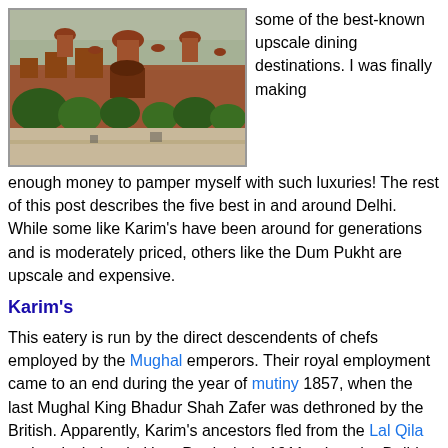[Figure (photo): Photo of a large red sandstone fort (likely Red Fort / Lal Qila) in Delhi, with trees in the foreground and a hazy sky.]
some of the best-known upscale dining destinations. I was finally making enough money to pamper myself with such luxuries! The rest of this post describes the five best in and around Delhi. While some like Karim's have been around for generations and is moderately priced, others like the Dum Pukht are upscale and expensive.
Karim's
This eatery is run by the direct descendents of chefs employed by the Mughal emperors. Their royal employment came to an end during the year of mutiny 1857, when the last Mughal King Bhadur Shah Zafer was dethroned by the British. Apparently, Karim's ancestors fled from the Lal Qila and took shelter in Uttar Pradesh. In 1911, when the Delhi